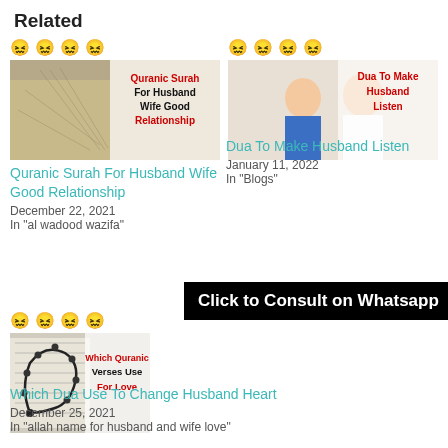Related
[Figure (photo): Thumbnail image for Quranic Surah For Husband Wife Good Relationship - shows open book with overlaid red and black text]
Quranic Surah For Husband Wife Good Relationship
December 22, 2021
In "al wadood wazifa"
[Figure (photo): Thumbnail image for Dua To Make Husband Listen - shows couple with overlaid red text]
Dua To Make Husband Listen
January 11, 2022
In "Blogs"
Click to Consult on Whatsapp
[Figure (photo): Thumbnail image for Which Quranic Verses Use For Love - shows Quran pages with overlaid red and black text]
Which Dua Use To Change Husband Heart
December 25, 2021
In "allah name for husband and wife love"